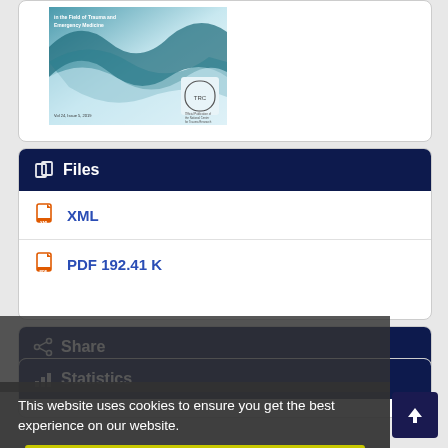[Figure (illustration): Journal cover image showing a teal/blue wave design with text 'in the Field of Trauma and Emergency Medicine' and 'Vol 24, Issue 5, 2019' at bottom, with a small institutional logo on the right side]
Files
XML
PDF 192.41 K
Share
Statistics
This website uses cookies to ensure you get the best experience on our website.
Got it!